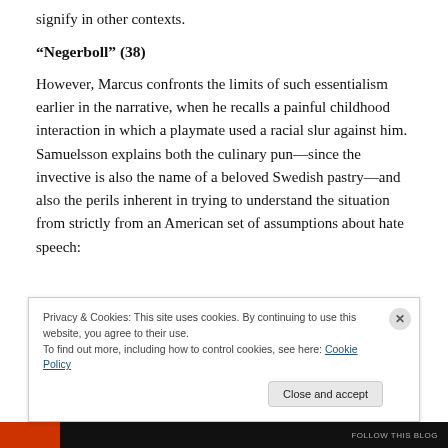signify in other contexts.
“Negerboll” (38)
However, Marcus confronts the limits of such essentialism earlier in the narrative, when he recalls a painful childhood interaction in which a playmate used a racial slur against him. Samuelsson explains both the culinary pun—since the invective is also the name of a beloved Swedish pastry—and also the perils inherent in trying to understand the situation from strictly from an American set of assumptions about hate speech:
Privacy & Cookies: This site uses cookies. By continuing to use this website, you agree to their use.
To find out more, including how to control cookies, see here: Cookie Policy
Close and accept